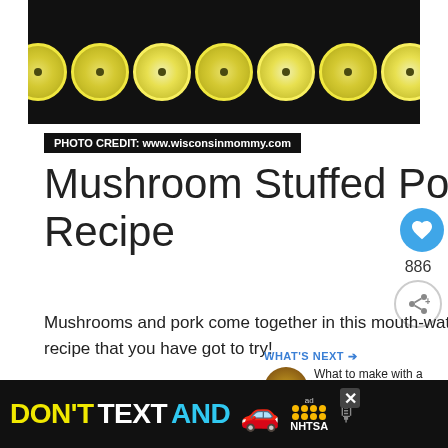[Figure (photo): Dark background food photo showing a pork tenderloin topped with a row of lemon/lime slices]
PHOTO CREDIT: www.wisconsinmommy.com
Mushroom Stuffed Pork Tenderloin Recipe
Mushrooms and pork come together in this mouth-watering pork recipe that you have got to try!
[Figure (other): Get Recipe button]
[Figure (other): Bottom advertisement banner: DON'T TEXT AND [car icon] ad by NHTSA]